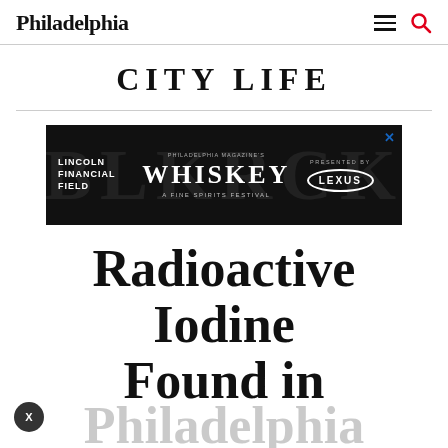Philadelphia
CITY LIFE
[Figure (other): Advertisement banner for Philadelphia Magazine's Whiskey: A Fine Spirits Festival at Lincoln Financial Field, presented by Lexus]
Radioactive Iodine Found in